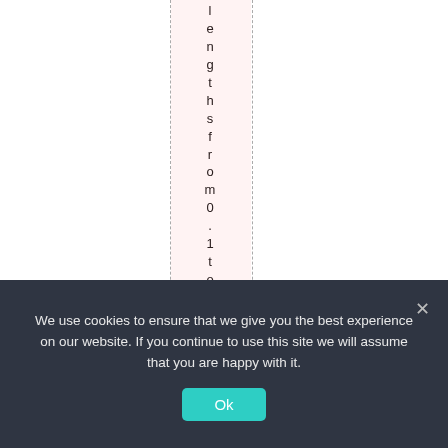lengthsfrom0.1to10
We use cookies to ensure that we give you the best experience on our website. If you continue to use this site we will assume that you are happy with it.